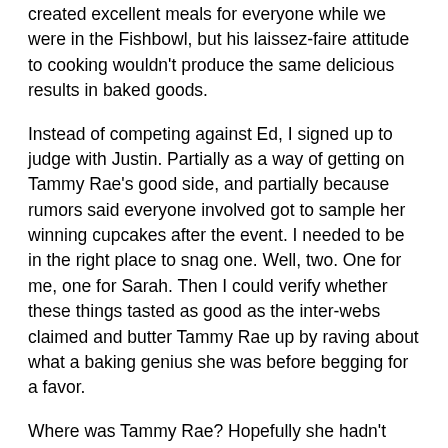created excellent meals for everyone while we were in the Fishbowl, but his laissez-faire attitude to cooking wouldn't produce the same delicious results in baked goods.
Instead of competing against Ed, I signed up to judge with Justin. Partially as a way of getting on Tammy Rae's good side, and partially because rumors said everyone involved got to sample her winning cupcakes after the event. I needed to be in the right place to snag one. Well, two. One for me, one for Sarah. Then I could verify whether these things tasted as good as the inter-webs claimed and butter Tammy Rae up by raving about what a baking genius she was before begging for a favor.
Where was Tammy Rae? Hopefully she hadn't changed her mind and canceled at the last minute. According to E-Entertainment News Online, she'd mysteriously pulled out of Celebrity Poker Match a few years back, despite being a favorite to win. I scanned the docks, looking for her.
With luck, the recipe would be in my hand and I'd be lounging by the pool before the ship arrived in our first port.